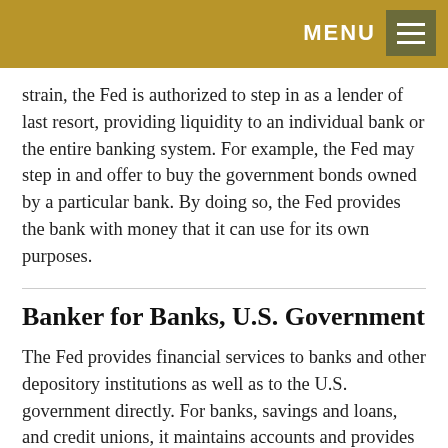MENU
strain, the Fed is authorized to step in as a lender of last resort, providing liquidity to an individual bank or the entire banking system. For example, the Fed may step in and offer to buy the government bonds owned by a particular bank. By doing so, the Fed provides the bank with money that it can use for its own purposes.
Banker for Banks, U.S. Government
The Fed provides financial services to banks and other depository institutions as well as to the U.S. government directly. For banks, savings and loans, and credit unions, it maintains accounts and provides various payment services, including collecting checks, electronically transferring funds, distributing new money, and receiving and destroying old, worn-out money. For the federal government, the Fed pays Treasury checks; processes electronic payments; and